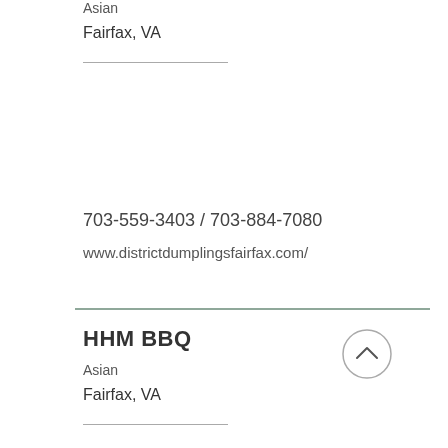Asian
Fairfax, VA
703-559-3403 / 703-884-7080
www.districtdumplingsfairfax.com/
HHM BBQ
Asian
Fairfax, VA